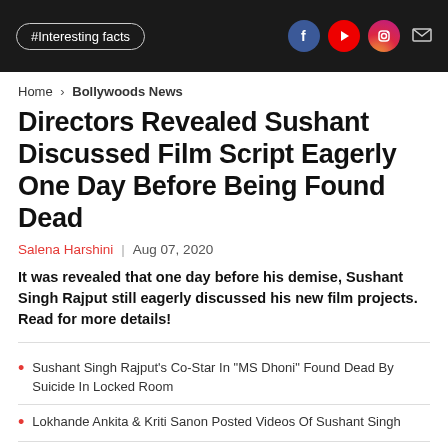#Interesting facts
Home > Bollywoods News
Directors Revealed Sushant Discussed Film Script Eagerly One Day Before Being Found Dead
Salena Harshini | Aug 07, 2020
It was revealed that one day before his demise, Sushant Singh Rajput still eagerly discussed his new film projects. Read for more details!
Sushant Singh Rajput's Co-Star In "MS Dhoni" Found Dead By Suicide In Locked Room
Lokhande Ankita & Kriti Sanon Posted Videos Of Sushant Singh